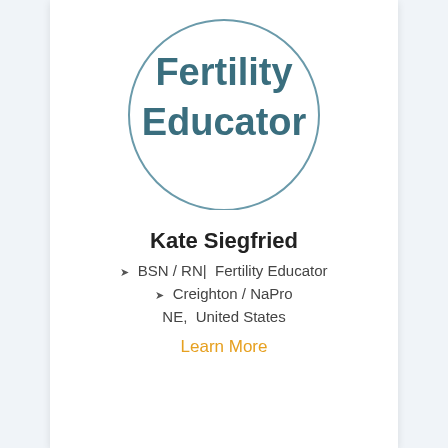[Figure (logo): A circular logo with border containing the text 'Fertility Educator' in bold teal/dark teal font]
Kate Siegfried
❯ BSN / RN|  Fertility Educator
❯ Creighton / NaPro
NE,  United States
Learn More